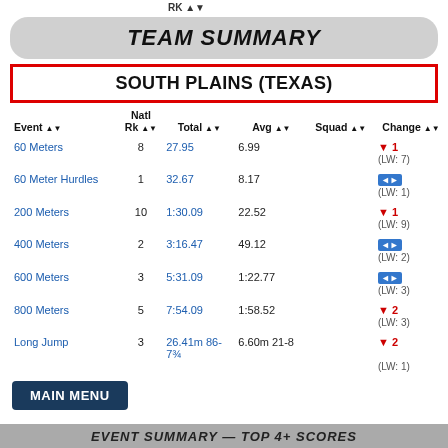RK ▲▼
TEAM SUMMARY
SOUTH PLAINS (TEXAS)
| Event ▲▼ | Natl Rk ▲▼ | Total ▲▼ | Avg ▲▼ | Squad ▲▼ | Change ▲▼ |
| --- | --- | --- | --- | --- | --- |
| 60 Meters | 8 | 27.95 | 6.99 |  | ▼ 1 (LW: 7) |
| 60 Meter Hurdles | 1 | 32.67 | 8.17 |  | ◄► (LW: 1) |
| 200 Meters | 10 | 1:30.09 | 22.52 |  | ▼ 1 (LW: 9) |
| 400 Meters | 2 | 3:16.47 | 49.12 |  | ◄► (LW: 2) |
| 600 Meters | 3 | 5:31.09 | 1:22.77 |  | ◄► (LW: 3) |
| 800 Meters | 5 | 7:54.09 | 1:58.52 |  | ▼ 2 (LW: 3) |
| Long Jump | 3 | 26.41m 86-7¾ | 6.60m 21-8 |  | ▼ 2 (LW: 1) |